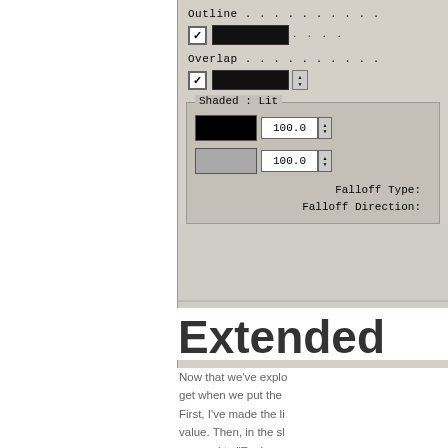[Figure (screenshot): Software UI panel showing Outline and Overlap checkboxes with black color swatches and dotted lines, and a Shaded: Lit group box containing two color swatches (black and gray) with numeric inputs showing 100.0, spinners, Falloff Type and Falloff Direction labels]
Extended
Now that we've explo get when we put the First, I've made the li value. Then, in the sl mapped to "Environ-